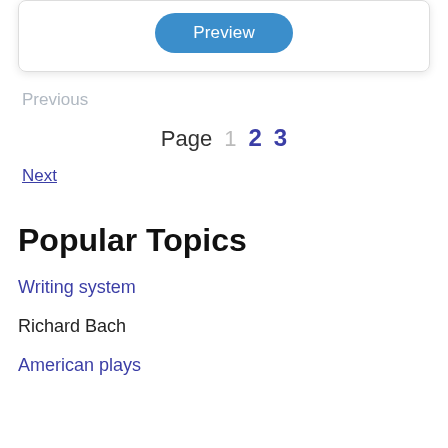[Figure (screenshot): Preview button inside a rounded card/box]
Previous
Page 1 2 3
Next
Popular Topics
Writing system
Richard Bach
American plays